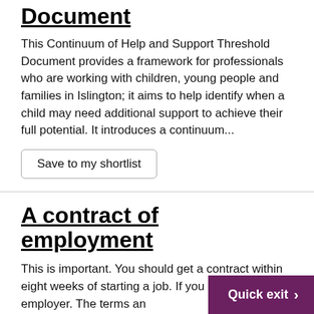Document
This Continuum of Help and Support Threshold Document provides a framework for professionals who are working with children, young people and families in Islington; it aims to help identify when a child may need additional support to achieve their full potential. It introduces a continuum...
Save to my shortlist
A contract of employment
This is important. You should get a contract within eight weeks of starting a job. If you don't ask your employer. The terms an your contract begin as soon as you start work.
Quick exit >